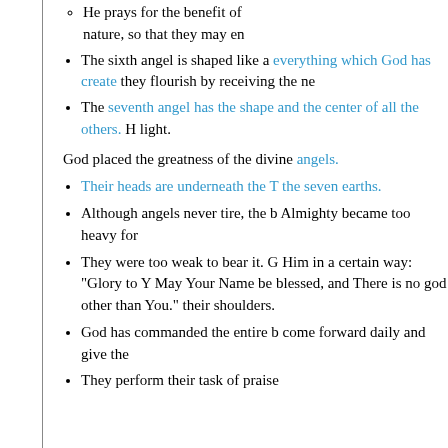He prays for the benefit of nature, so that they may en...
The sixth angel is shaped like a... everything which God has created... they flourish by receiving the ne...
The seventh angel has the shape... and the center of all the others. H... light.
God placed the greatness of the divine angels.
Their heads are underneath the T... the seven earths.
Although angels never tire, the b... Almighty became too heavy for...
They were too weak to bear it. G... Him in a certain way: "Glory to Y... May Your Name be blessed, and... There is no god other than You."... their shoulders.
God has commanded the entire b... come forward daily and give the...
They perform their task of praise...